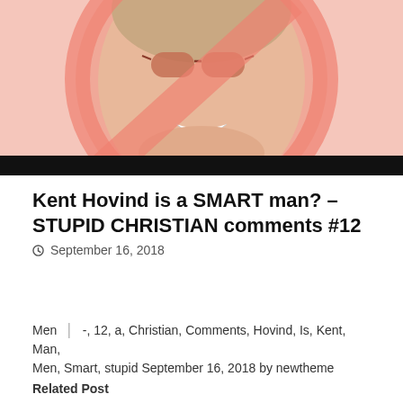[Figure (photo): Photo of a smiling man with glasses overlaid with a large salmon/pink circular no-symbol (circle with diagonal cross) graphic. A black bar runs across the bottom of the image.]
Kent Hovind is a SMART man? – STUPID CHRISTIAN comments #12
September 16, 2018
Men | -, 12, a, Christian, Comments, Hovind, Is, Kent, Man, Men, Smart, stupid September 16, 2018 by newtheme
Related Post